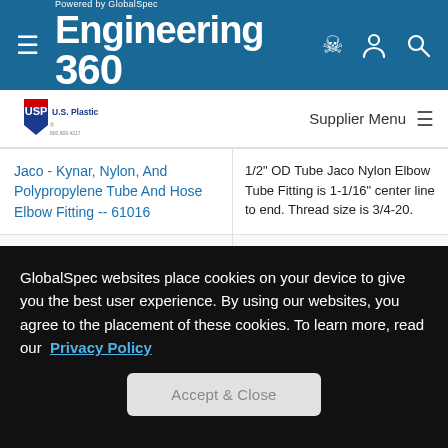Engineering 360 - Powered by GlobalSpec
[Figure (logo): U.S. Plastic Corp. logo with red, white, blue USP shield and phone number 800.809.4217]
Supplier Menu
Jaco - Kynar, Nylon, And Polypropylene Tube And Hose Elbow Fitting -- 61016
1/2" OD Tube Jaco Nylon Elbow Tube Fitting is 1-1/16" center line to end. Thread size is 3/4-20.
Jaco - Kynar, Nylon, And Polypropylene Tube And Hose Nut Fitting -- 61004
1/2" OD Tube Jaco Nylon Nut is 15/16 across flats and 7/8" long. Thread size is
GlobalSpec websites place cookies on your device to give you the best user experience. By using our websites, you agree to the placement of these cookies. To learn more, read our Privacy Policy
Accept & Close